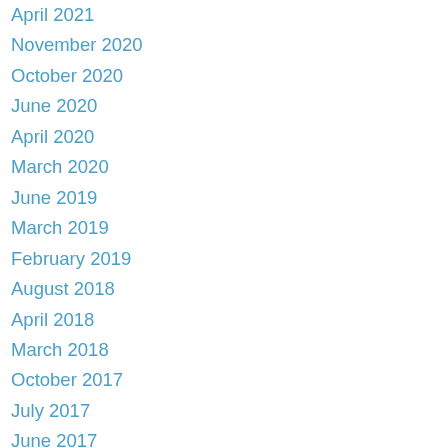April 2021
November 2020
October 2020
June 2020
April 2020
March 2020
June 2019
March 2019
February 2019
August 2018
April 2018
March 2018
October 2017
July 2017
June 2017
February 2017
October 2016
September 2016
July 2016
May 2016
April 2016